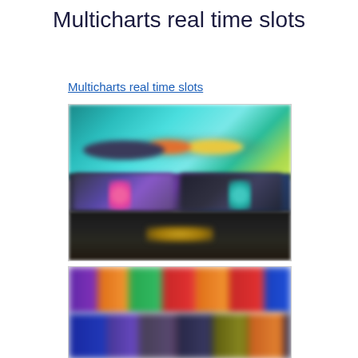Multicharts real time slots
Multicharts real time slots
[Figure (screenshot): Blurred screenshot of a slot machine game interface showing animated characters on a colorful background with game thumbnails below]
[Figure (screenshot): Blurred screenshot of a grid of slot game thumbnails with colorful icons]